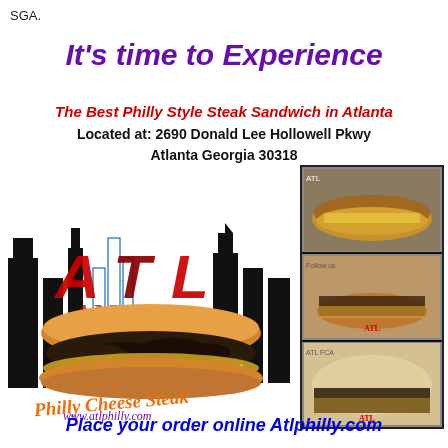SGA.
It's time to Experience
The Best Philly Style Steak Sandwich in Atlanta
Located at: 2690 Donald Lee Hollowell Pkwy
Atlanta Georgia 30318
[Figure (logo): ATL Philly Cheese Steak logo with city skyline silhouette, large steak sandwich, red ATL letters, and www.atlphilly.com URL in script]
[Figure (photo): Three stacked food photos showing Philly cheesesteak sandwiches]
Place your order online  Atlphilly.com